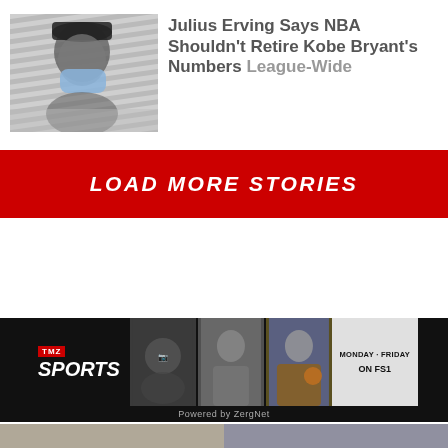[Figure (photo): A person wearing a blue face mask and dark cap, photographed from the chest up, with a blurred background of horizontal lines.]
Julius Erving Says NBA Shouldn't Retire Kobe Bryant's Numbers League-Wide
LOAD MORE STORIES
[Figure (screenshot): TMZ Sports TV show banner ad. Shows TMZ Sports logo on left, two male hosts in center panels, a man in Lakers jersey on right, and a box reading 'MONDAY - FRIDAY ON FS1'.]
Powered by ZergNet